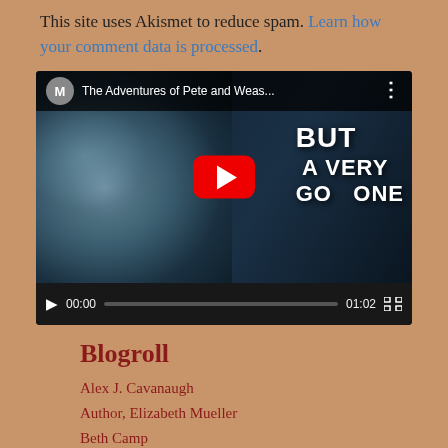This site uses Akismet to reduce spam. Learn how your comment data is processed.
[Figure (screenshot): YouTube video player showing 'The Adventures of Pete and Weas...' with a child's face on the left and text 'BUT A VERY GOOD ONE' on the right. Controls show 00:00 / 01:02.]
Blogroll
Alex J. Cavanaugh
Author, Elizabeth Mueller
Beth Camp